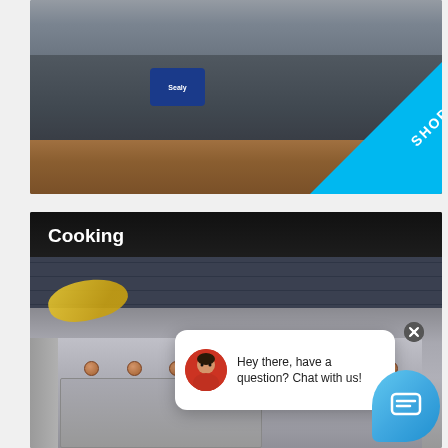[Figure (photo): Sealy mattress on a wooden bed frame in a bedroom setting, with a 'SHOP NOW' diagonal cyan banner in the bottom-right corner]
[Figure (photo): Cooking category banner showing a professional stainless steel range/stove with rose gold knobs and bananas visible, overlaid with a live chat popup saying 'Hey there, have a question? Chat with us!' and a chat widget button]
Cooking
Hey there, have a question? Chat with us!
SHOP NOW